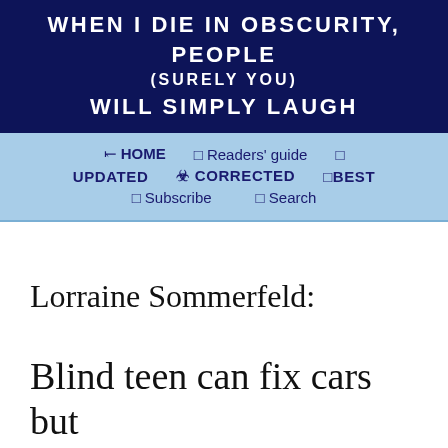WHEN I DIE IN OBSCURITY, PEOPLE (SURELY YOU) WILL SIMPLY LAUGH
HOME  Readers' guide  UPDATED  CORRECTED  BEST  Subscribe  Search
Lorraine Sommerfeld:
Blind teen can fix cars but